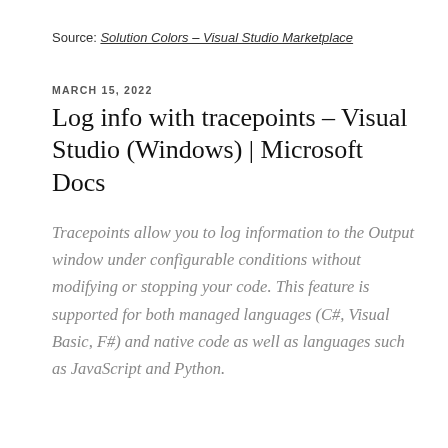Source: Solution Colors – Visual Studio Marketplace
MARCH 15, 2022
Log info with tracepoints – Visual Studio (Windows) | Microsoft Docs
Tracepoints allow you to log information to the Output window under configurable conditions without modifying or stopping your code. This feature is supported for both managed languages (C#, Visual Basic, F#) and native code as well as languages such as JavaScript and Python.